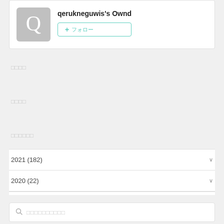qerukneguwis's Ownd
+ フォロー
□□□□
□□□□
□□□□□□
2021 (182)
2020 (22)
□□□□□□□□□□